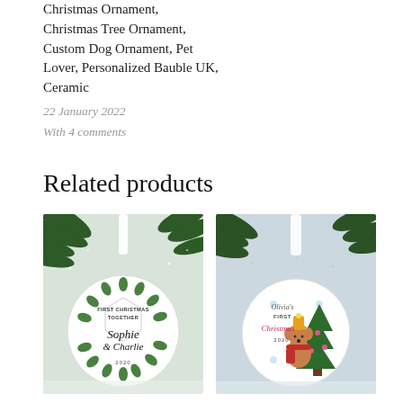Christmas Ornament, Christmas Tree Ornament, Custom Dog Ornament, Pet Lover, Personalized Bauble UK, Ceramic
22 January 2022
With 4 comments
Related products
[Figure (photo): Christmas ornament bauble hanging from pine tree branch, shows circular ceramic ornament with 'FIRST CHRISTMAS TOGETHER Sophie & Charlie 2020' text with green leaf wreath design]
[Figure (photo): Christmas ornament bauble hanging from pine tree branch, shows circular ceramic ornament with 'Olivia's FIRST Christmas 2020' text with a deer and Christmas tree illustration]